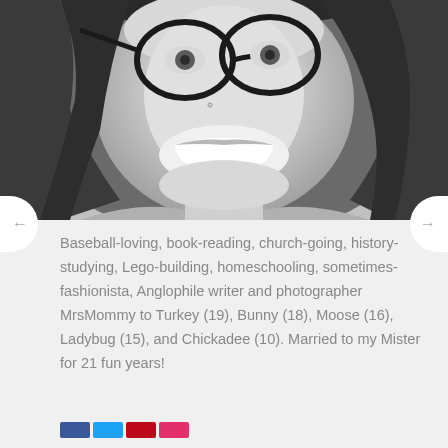[Figure (photo): Black and white close-up photo of a smiling woman wearing round glasses, with dark hair. Nose piercing visible. Image is cropped at the lower portion showing face, neck, and top of shoulders.]
Baseball-loving, book-reading, church-going, history-studying, Lego-building, homeschooling, sometimes-fashionista, Anglophile writer and photographer MrsMommy to Turkey (19), Bunny (18), Moose (16), Ladybug (15), and Chickadee (10). Married to my Mister for 21 fun years!